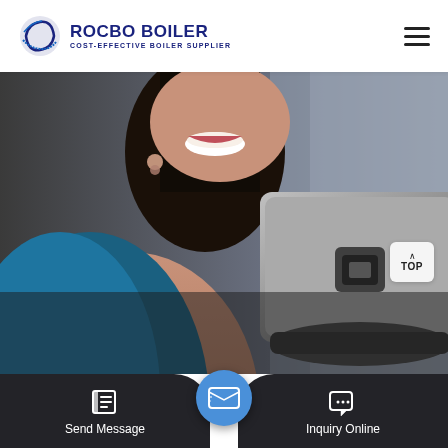[Figure (logo): Rocbo Boiler logo with circular wave icon and text ROCBO BOILER / COST-EFFECTIVE BOILER SUPPLIER]
[Figure (photo): Woman smiling holding a laptop, blurred background, wearing blue dress]
Send Message
Inquiry Online